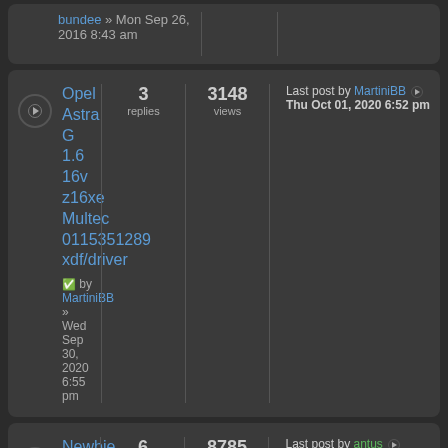bundee » Mon Sep 26, 2016 8:43 am
Opel Astra G 1.6 16v z16xe Multec 0115351289 xdf/driver by MartiniBB » Wed Sep 30, 2020 6:55 pm | 3 replies | 3148 views | Last post by MartiniBB Thu Oct 01, 2020 6:52 pm
Newbie question about making a CLA "LED friendly" by | 6 replies | 8785 views | Last post by antus Tue Dec 10, 2019 3:40 pm